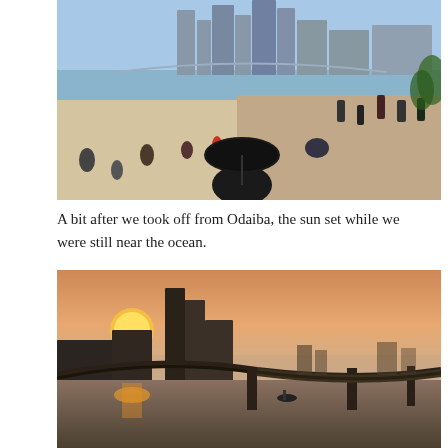[Figure (photo): Beach scene at Odaiba, Tokyo. A person with a black umbrella sits in the foreground on sandy beach. People walk along a promenade to the right. City skyline with tall buildings and Rainbow Bridge visible in background across the water. Clear blue sky.]
A bit after we took off from Odaiba, the sun set while we were still near the ocean.
[Figure (photo): Sunset over Tokyo bay near Odaiba. Orange and golden sky reflected on calm water. A large highway bridge curves across the scene. City buildings and skyline visible in background. A small boat on the water.]